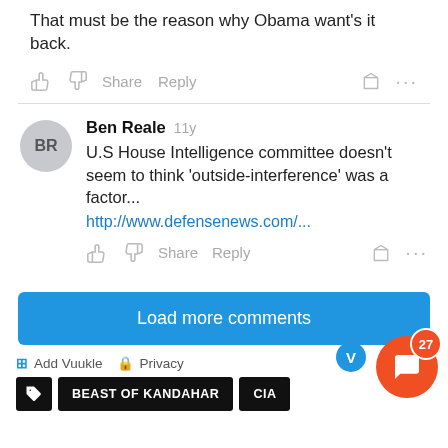That must be the reason why Obama want's it back.
👍 👎 Share Reply 🚩 ...
Ben Reale 11y
U.S House Intelligence committee doesn't seem to think 'outside-interference' was a factor...
http://www.defensenews.com/...
👍 👎 Share Reply 🚩 ...
Load more comments
⊞ Add Vuukle 🔒 Privacy
BEAST OF KANDAHAR  CIA